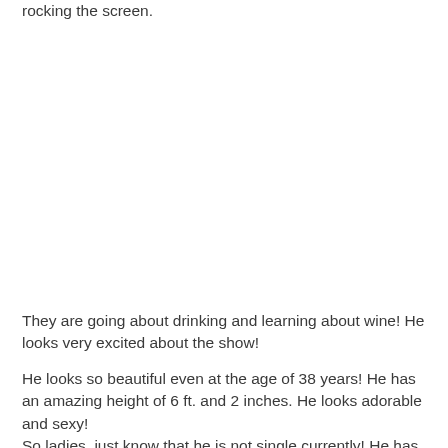rocking the screen.
They are going about drinking and learning about wine! He looks very excited about the show!
He looks so beautiful even at the age of 38 years! He has an amazing height of 6 ft. and 2 inches. He looks adorable and sexy!
So ladies, just know that he is not single currently! He has